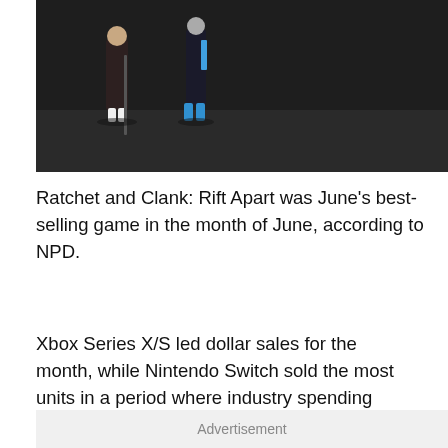[Figure (photo): Game screenshot or promotional image showing characters walking, dark background with two figures — one in dark clothing and one with blue highlights]
Ratchet and Clank: Rift Apart was June’s best-selling game in the month of June, according to NPD.
Xbox Series X/S led dollar sales for the month, while Nintendo Switch sold the most units in a period where industry spending rose 5% year-over-year, and where year-to-date spending climbed 17% to $24 billion.
Advertisement